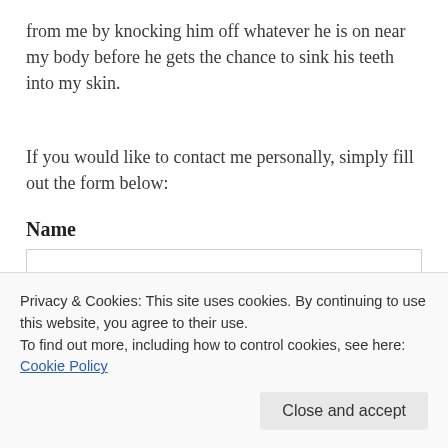from me by knocking him off whatever he is on near my body before he gets the chance to sink his teeth into my skin.
If you would like to contact me personally, simply fill out the form below:
Name
Privacy & Cookies: This site uses cookies. By continuing to use this website, you agree to their use.
To find out more, including how to control cookies, see here: Cookie Policy